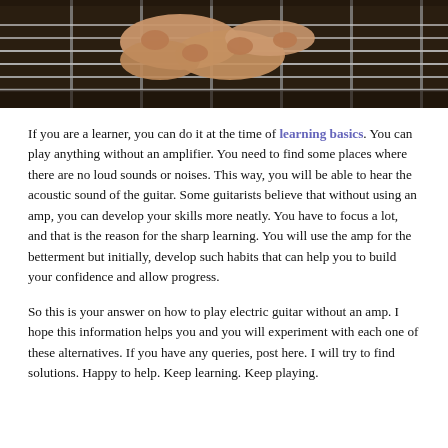[Figure (photo): Close-up photograph of a hand pressing strings on an electric guitar fretboard, seen from above]
If you are a learner, you can do it at the time of learning basics. You can play anything without an amplifier. You need to find some places where there are no loud sounds or noises. This way, you will be able to hear the acoustic sound of the guitar. Some guitarists believe that without using an amp, you can develop your skills more neatly. You have to focus a lot, and that is the reason for the sharp learning. You will use the amp for the betterment but initially, develop such habits that can help you to build your confidence and allow progress.
So this is your answer on how to play electric guitar without an amp. I hope this information helps you and you will experiment with each one of these alternatives. If you have any queries, post here. I will try to find solutions. Happy to help. Keep learning. Keep playing.